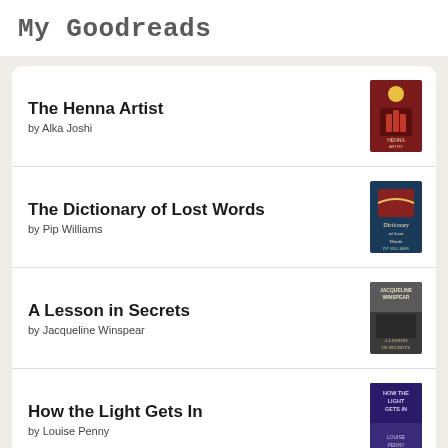My Goodreads
The Henna Artist by Alka Joshi
The Dictionary of Lost Words by Pip Williams
A Lesson in Secrets by Jacqueline Winspear
How the Light Gets In by Louise Penny
The Last Thing He Told Me by Laura Dave